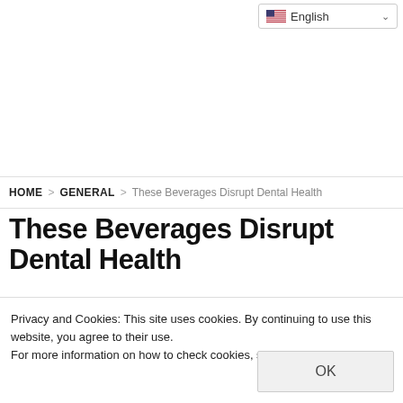English (language selector)
HOME  >  GENERAL  >  These Beverages Disrupt Dental Health
These Beverages Disrupt Dental Health
Privacy and Cookies: This site uses cookies. By continuing to use this website, you agree to their use.
For more information on how to check cookies, see here: Cookie Policy
OK
[Figure (photo): Bottom strip showing a partial photo, likely a beverage or dental-related image in grayscale]